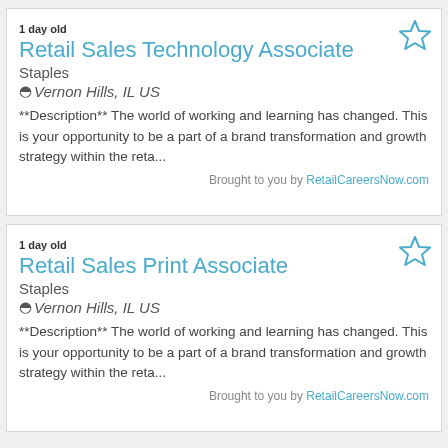1 day old
Retail Sales Technology Associate
Staples
Vernon Hills, IL US
**Description** The world of working and learning has changed. This is your opportunity to be a part of a brand transformation and growth strategy within the reta...
Brought to you by RetailCareersNow.com
1 day old
Retail Sales Print Associate
Staples
Vernon Hills, IL US
**Description** The world of working and learning has changed. This is your opportunity to be a part of a brand transformation and growth strategy within the reta...
Brought to you by RetailCareersNow.com